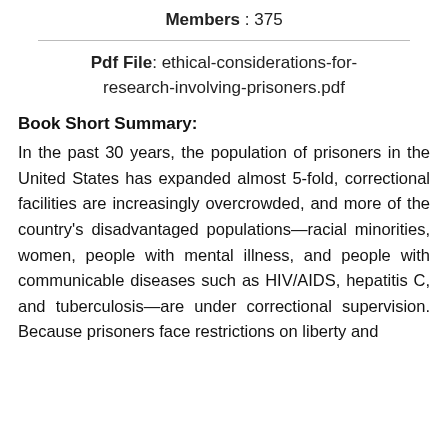Members : 375
Pdf File: ethical-considerations-for-research-involving-prisoners.pdf
Book Short Summary:
In the past 30 years, the population of prisoners in the United States has expanded almost 5-fold, correctional facilities are increasingly overcrowded, and more of the country's disadvantaged populations—racial minorities, women, people with mental illness, and people with communicable diseases such as HIV/AIDS, hepatitis C, and tuberculosis—are under correctional supervision. Because prisoners face restrictions on liberty and